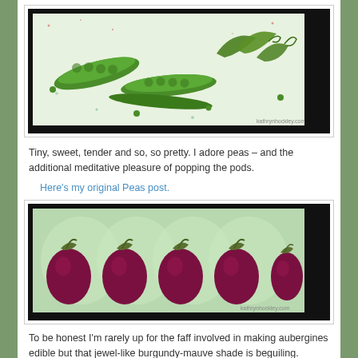[Figure (illustration): Botanical illustration of pea pods, open peas, and pea plant with tendrils, painted in green watercolor style on a light speckled background, framed with a black border. Watermark: kathrynhockley.com]
Tiny, sweet, tender and so, so pretty. I adore peas – and the additional meditative pleasure of popping the pods.
Here's my original Peas post.
[Figure (illustration): Illustration of five dark burgundy-purple eggplants (aubergines) in a row against a green patterned background, framed with a black border. Watermark: kathrynhockley.com]
To be honest I'm rarely up for the faff involved in making aubergines edible but that jewel-like burgundy-mauve shade is beguiling.